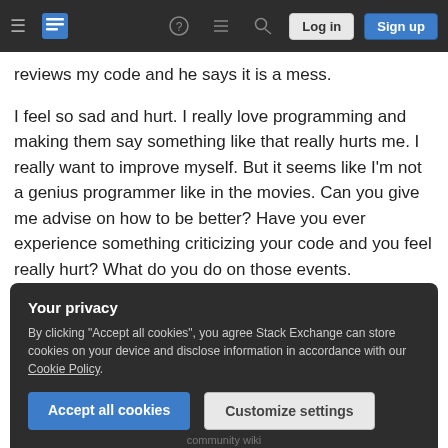Stack Exchange navigation bar with Log in and Sign up buttons
reviews my code and he says it is a mess.
I feel so sad and hurt. I really love programming and making them say something like that really hurts me. I really want to improve myself. But it seems like I'm not a genius programmer like in the movies. Can you give me advise on how to be better? Have you ever experience something criticizing your code and you feel really hurt? What do you do on those events.
Your privacy
By clicking "Accept all cookies", you agree Stack Exchange can store cookies on your device and disclose information in accordance with our Cookie Policy.
Accept all cookies   Customize settings
community wiki